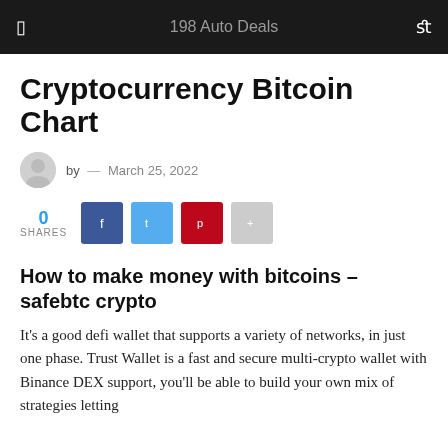198 Auto Deals
Cryptocurrency Bitcoin Chart
by — March 25, 2022
0 SHARES
How to make money with bitcoins – safebtc crypto
It's a good defi wallet that supports a variety of networks, in just one phase. Trust Wallet is a fast and secure multi-crypto wallet with Binance DEX support, you'll be able to build your own mix of strategies letting